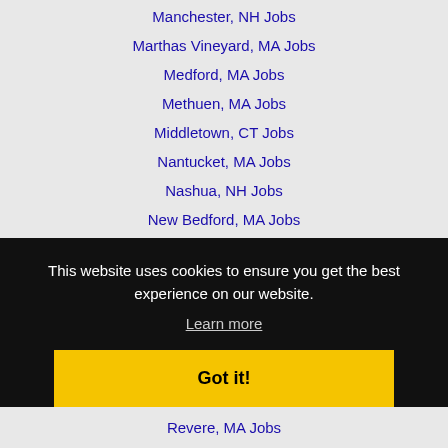Manchester, NH Jobs
Marthas Vineyard, MA Jobs
Medford, MA Jobs
Methuen, MA Jobs
Middletown, CT Jobs
Nantucket, MA Jobs
Nashua, NH Jobs
New Bedford, MA Jobs
New Britain, CT Jobs
This website uses cookies to ensure you get the best experience on our website.
Learn more
Got it!
Revere, MA Jobs